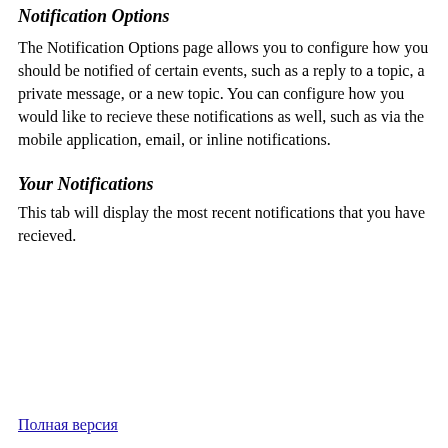Notification Options
The Notification Options page allows you to configure how you should be notified of certain events, such as a reply to a topic, a private message, or a new topic. You can configure how you would like to recieve these notifications as well, such as via the mobile application, email, or inline notifications.
Your Notifications
This tab will display the most recent notifications that you have recieved.
Полная версия